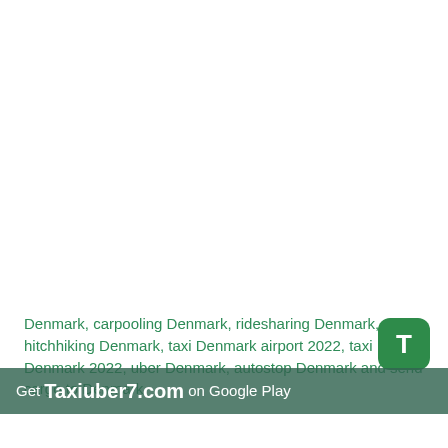Denmark, carpooling Denmark, ridesharing Denmark, hitchhiking Denmark, taxi Denmark airport 2022, taxi Denmark 2022, uber Denmark, autostop Denmark and send cargo to Denmark.
[Figure (logo): App icon: green rounded square with white letter T]
Get Taxiuber7.com on Google Play